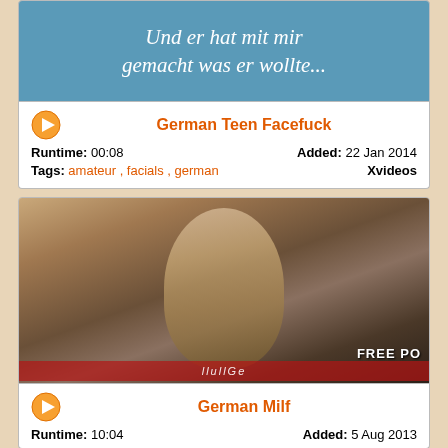[Figure (screenshot): Blue banner with italic white German text: 'Und er hat mit mir gemacht was er wollte...']
German Teen Facefuck
Runtime: 00:08   Added: 22 Jan 2014
Tags: amateur , facials , german   Xvideos
[Figure (photo): Photo of a blonde woman looking upward, with 'FREE PO' watermark in bottom right corner]
German Milf
Runtime: 10:04   Added: 5 Aug 2013